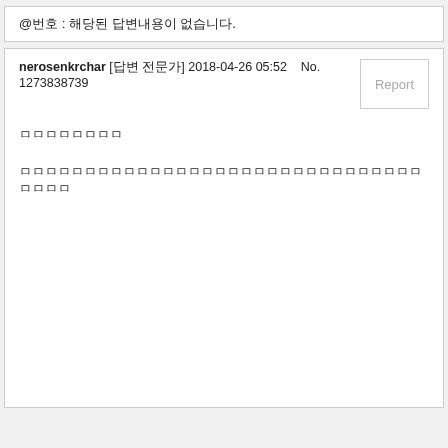@번호 : 해당된 답변내용이 없습니다.
nerosenkrchar [답변 전문가] 2018-04-26 05:52    No. 1273838739
ㅁㅁㅁㅁㅁㅁㅁㅁ
ㅁㅁㅁㅁㅁㅁㅁㅁㅁㅁㅁㅁㅁㅁㅁㅁㅁㅁㅁㅁㅁㅁㅁㅁㅁㅁㅁㅁㅁㅁㅁㅁㅁㅁㅁ